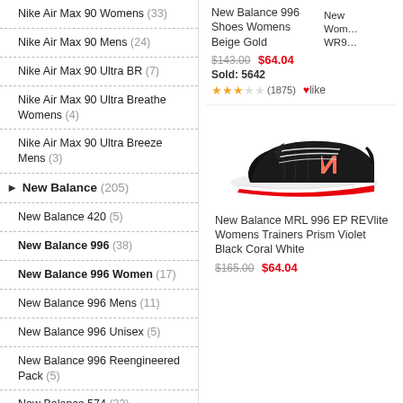Nike Air Max 90 Womens (33)
Nike Air Max 90 Mens (24)
Nike Air Max 90 Ultra BR (7)
Nike Air Max 90 Ultra Breathe Womens (4)
Nike Air Max 90 Ultra Breeze Mens (3)
New Balance (205)
New Balance 420 (5)
New Balance 996 (38)
New Balance 996 Women (17)
New Balance 996 Mens (11)
New Balance 996 Unisex (5)
New Balance 996 Reengineered Pack (5)
New Balance 574 (32)
New Balance 574 Womens (12)
New Balance 574 Mens (10)
New Balance 996 Shoes Womens Beige Gold
$143.00  $64.04  Sold: 5642  ★★★☆☆ (1875)  ♥like
[Figure (photo): New Balance MRL 996 EP REVlite Womens Trainers Prism Violet Black Coral White shoe photo]
New Balance MRL 996 EP REVlite Womens Trainers Prism Violet Black Coral White
$165.00  $64.04